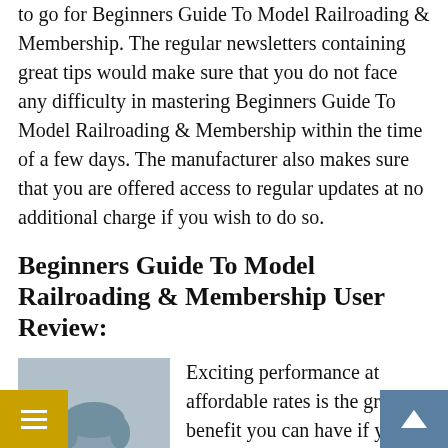to go for Beginners Guide To Model Railroading & Membership. The regular newsletters containing great tips would make sure that you do not face any difficulty in mastering Beginners Guide To Model Railroading & Membership within the time of a few days. The manufacturer also makes sure that you are offered access to regular updates at no additional charge if you wish to do so.
Beginners Guide To Model Railroading & Membership User Review:
[Figure (illustration): Silhouette avatar of a person (generic user profile image) with gray background]
Exciting performance at affordable rates is the greatest benefit you can have if you go for Beginners Guide To Model Railroading & Membership.